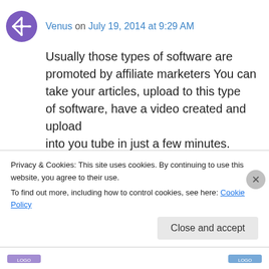Venus on July 19, 2014 at 9:29 AM
Usually those types of software are promoted by affiliate marketers You can take your articles, upload to this type of software, have a video created and upload into you tube in just a few minutes. Okay, let us say your niche is “Online Video Marketing”, that is a fantastic longtail keyword, however it’s
Privacy & Cookies: This site uses cookies. By continuing to use this website, you agree to their use.
To find out more, including how to control cookies, see here: Cookie Policy